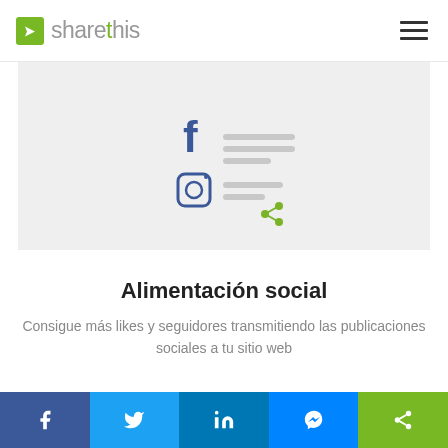sharethis
[Figure (illustration): Social feed illustration showing Facebook and Instagram icons with content lines and a share icon on a gray background]
Alimentación social
Consigue más likes y seguidores transmitiendo las publicaciones sociales a tu sitio web
Facebook, Twitter, LinkedIn, Messenger, Share buttons